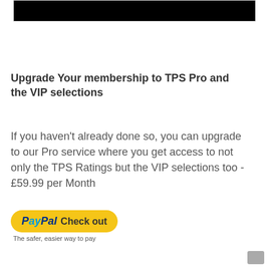[Figure (screenshot): Black image/banner at the top of the page inside a bordered box]
Upgrade Your membership to TPS Pro and the VIP selections
If you haven't already done so, you can upgrade to our Pro service where you get access to not only the TPS Ratings but the VIP selections too - £59.99 per Month
[Figure (logo): PayPal Check out button — yellow rounded button with PayPal logo and 'Check out' text, with tagline 'The safer, easier way to pay']